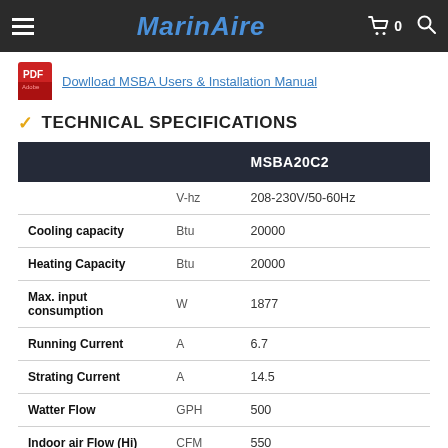MarinAire
Dowlload MSBA Users & Installation Manual
TECHNICAL SPECIFICATIONS
|  | Unit | MSBA20C2 |
| --- | --- | --- |
|  | V-hz | 208-230V/50-60Hz |
| Cooling capacity | Btu | 20000 |
| Heating Capacity | Btu | 20000 |
| Max. input consumption | W | 1877 |
| Running Current | A | 6.7 |
| Strating Current | A | 14.5 |
| Watter Flow | GPH | 500 |
| Indoor air Flow (Hi) | CFM | 550 |